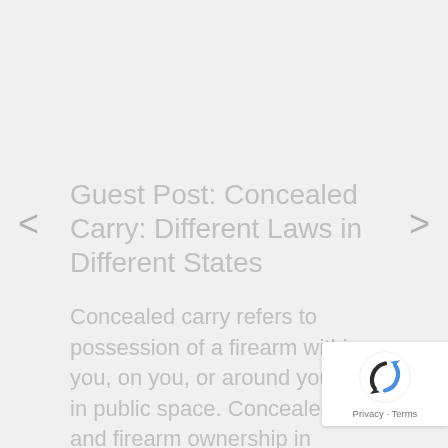Guest Post: Concealed Carry: Different Laws in Different States
Concealed carry refers to possession of a firearm within you, on you, or around you while in public space. Concealed carry and firearm ownership in general is common in the United States.